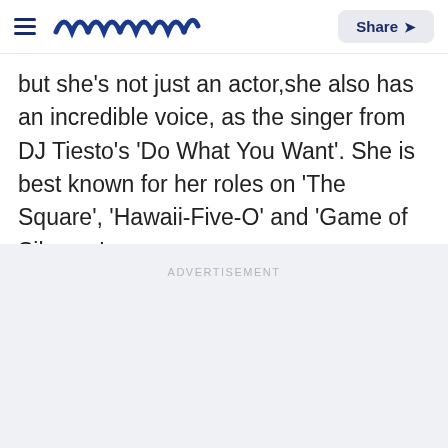meaww — Share
but she's not just an actor,she also has an incredible voice, as the singer from DJ Tiesto's 'Do What You Want'. She is best known for her roles on 'The Square', 'Hawaii-Five-O' and 'Game of Silence.'
ADVERTISEMENT